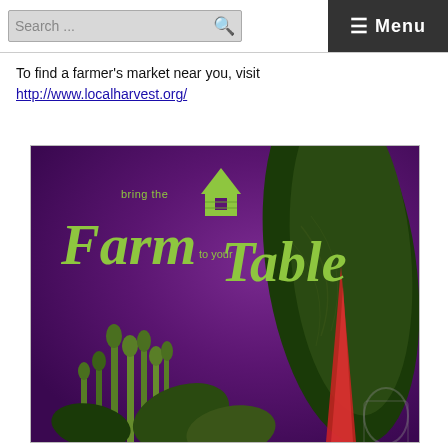Search ... ☰ Menu
To find a farmer's market near you, visit http://www.localharvest.org/
[Figure (illustration): Bring the Farm to your Table logo over a purple background with green vegetables including asparagus and chard]